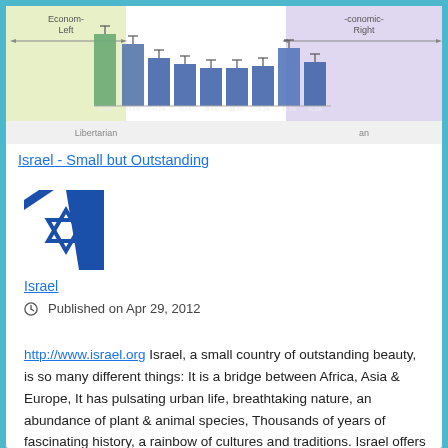[Figure (other): Partial political compass bar chart showing Economic Left/Right axis with bars, Libertarian label visible at bottom]
Israel - Small but Outstanding
[Figure (illustration): Israel flag logo - blue Star of David on white with blue diagonal stripe]
Israel
Published on Apr 29, 2012
http://www.israel.org Israel, a small country of outstanding beauty, is so many different things: It is a bridge between Africa, Asia & Europe, It has pulsating urban life, breathtaking nature, an abundance of plant & animal species, Thousands of years of fascinating history, a rainbow of cultures and traditions. Israel offers an